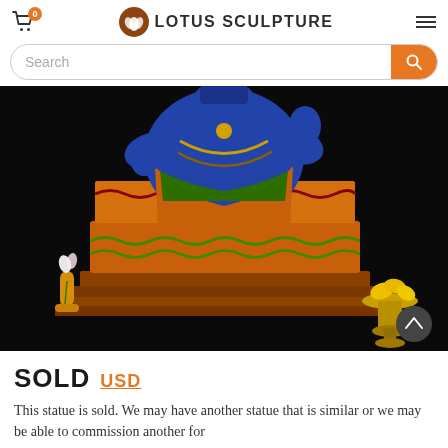Lotus Sculpture — 0 items in cart, Search bar, hamburger menu
[Figure (photo): Close-up photo of a colorful painted wooden Hindu deity statue (Vishnu/Ganesha style) with blue skin, ornate jewelry and robes in orange, green and red, seated on a pedestal. A small white flower in a yellow vase is on the left; a golden chalice with yellow flowers is on the right. Background is black.]
SOLD USD
This statue is sold. We may have another statue that is similar or we may be able to commission another for